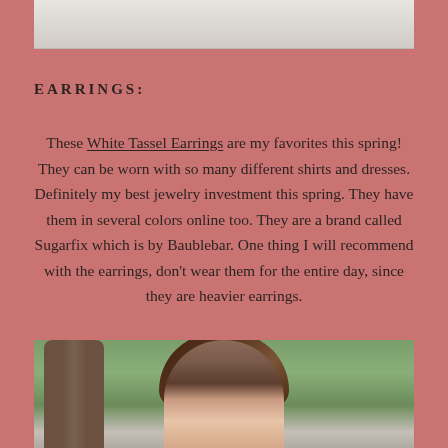[Figure (photo): Top portion of an outdoor photo, light/neutral background, partially cropped]
EARRINGS:
These White Tassel Earrings are my favorites this spring! They can be worn with so many different shirts and dresses. Definitely my best jewelry investment this spring. They have them in several colors online too. They are a brand called Sugarfix which is by Baublebar. One thing I will recommend with the earrings, don't wear them for the entire day, since they are heavier earrings.
[Figure (photo): Bottom portion of outdoor photo showing a woman with dark brown hair, trees and grass in background, photo cropped at top of head]